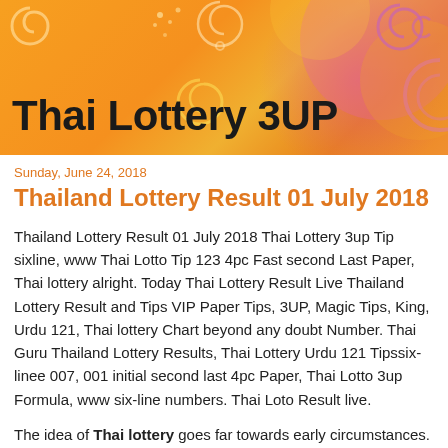[Figure (illustration): Orange decorative banner header with swirl patterns in yellow, pink and purple on an orange gradient background. Text 'Thai Lottery 3UP' displayed in large bold black font.]
Sunday, June 24, 2018
Thailand Lottery Result 01 July 2018
Thailand Lottery Result 01 July 2018 Thai Lottery 3up Tip sixline, www Thai Lotto Tip 123 4pc Fast second Last Paper, Thai lottery alright. Today Thai Lottery Result Live Thailand Lottery Result and Tips VIP Paper Tips, 3UP, Magic Tips, King, Urdu 121, Thai lottery Chart beyond any doubt Number. Thai Guru Thailand Lottery Results, Thai Lottery Urdu 121 Tipssix-linee 007, 001 initial second last 4pc Paper, Thai Lotto 3up Formula, www six-line numbers. Thai Loto Result live.
The idea of Thai lottery goes far towards early circumstances. People of Thailand are to a great degree attached to being a card shark. The lottery has been